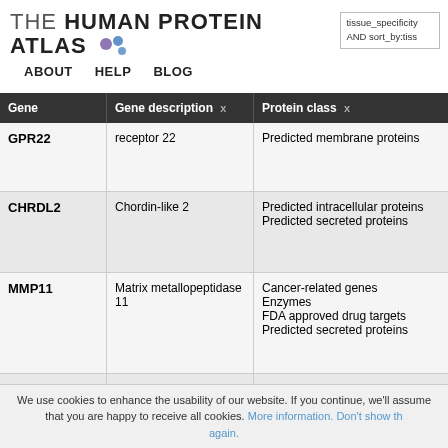THE HUMAN PROTEIN ATLAS
ABOUT   HELP   BLOG
tissue_specificity AND sort_by:tiss
| Gene | Gene description  x | Protein class  x | Tiss |
| --- | --- | --- | --- |
| GPR22 | receptor 22 | Predicted membrane proteins |  |
| CHRDL2 | Chordin-like 2 | Predicted intracellular proteins
Predicted secreted proteins |  |
| MMP11 | Matrix metallopeptidase 11 | Cancer-related genes
Enzymes
FDA approved drug targets
Predicted secreted proteins |  |
| TRH | Thyrotropin-releasing hormone | Predicted secreted proteins |  |
|  |  | Cancer-related genes
Disease related genes |  |
We use cookies to enhance the usability of our website. If you continue, we'll assume that you are happy to receive all cookies. More information. Don't show this again.